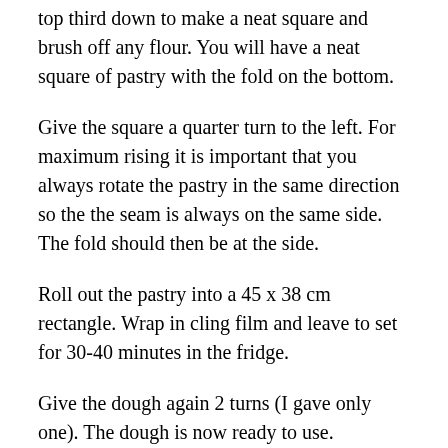top third down to make a neat square and brush off any flour. You will have a neat square of pastry with the fold on the bottom.
Give the square a quarter turn to the left. For maximum rising it is important that you always rotate the pastry in the same direction so the the seam is always on the same side. The fold should then be at the side.
Roll out the pastry into a 45 x 38 cm rectangle. Wrap in cling film and leave to set for 30-40 minutes in the fridge.
Give the dough again 2 turns (I gave only one). The dough is now ready to use.
Halve the dough (keep the dough you don't work with in the fridge) and roll out in approximately 20 cm wide strips with 3 mm thickness. Brush with eggwash. Fold the bottom third of the strip up toward the centre, carefully